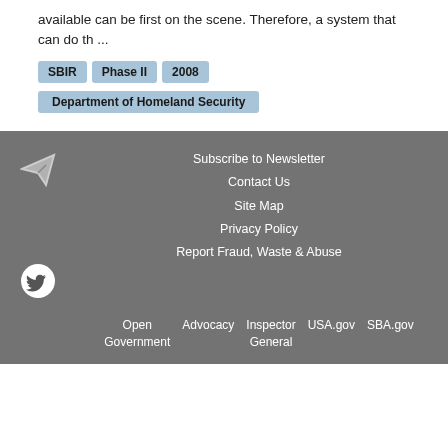available can be first on the scene. Therefore, a system that can do th ...
SBIR
Phase II
2008
Department of Homeland Security
Subscribe to Newsletter
Contact Us
Site Map
Privacy Policy
Report Fraud, Waste & Abuse
Open Government  Advocacy  Inspector General  USA.gov  SBA.gov